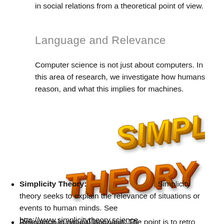in social relations from a theoretical point of view.
Language and Relevance
Computer science is not just about computers. In this area of research, we investigate how humans reason, and what this implies for machines.
[Figure (illustration): 3D styled text showing 'SIMPLICITY' in gold/yellow on top and 'THEORY' in orange below, arranged in a staggered layout]
Simplicity Theory: Simplicity theory seeks to explain the relevance of situations or events to human minds. See http://www.simplicitytheory.science
Relevance in natural language: The point is to retro